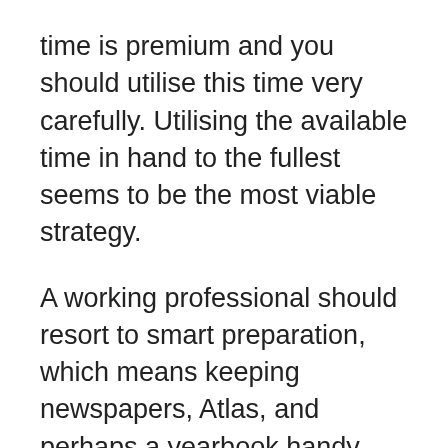time is premium and you should utilise this time very carefully. Utilising the available time in hand to the fullest seems to be the most viable strategy.
A working professional should resort to smart preparation, which means keeping newspapers, Atlas, and perhaps a yearbook handy and reading through it while traveling, at lunch hours, or as and when there is some free time.
These are well directed and quick options to prepare for the preliminary exams. I know